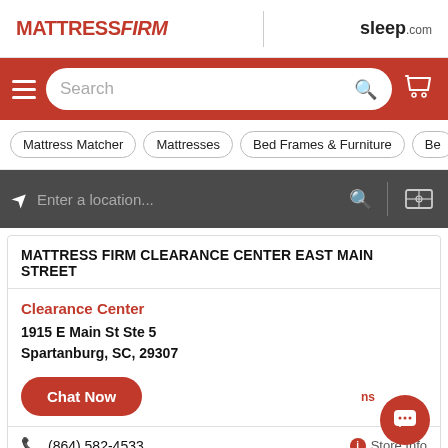[Figure (screenshot): MattressFirm website header with logo and sleep.com logo]
[Figure (screenshot): Red navigation bar with hamburger menu, search input, and cart icon]
[Figure (screenshot): Category pills: Mattress Matcher, Mattresses, Bed Frames & Furniture, Be...]
[Figure (screenshot): Dark location bar with location icon, Enter a location... input, search icon, map icon]
MATTRESS FIRM CLEARANCE CENTER EAST MAIN STREET
Clearance Center
1915 E Main St Ste 5
Spartanburg, SC, 29307
Chat Now
(864) 582-4533
Store Info
+1(864)234-0548 (text us)